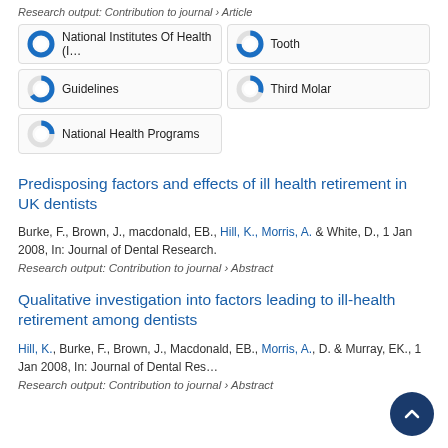Research output: Contribution to journal › Article
[Figure (infographic): Five keyword badges with donut chart indicators showing coverage percentages: National Institutes Of Health (100%), Tooth (~75%), Guidelines (~65%), Third Molar (~30%), National Health Programs (~25%)]
Predisposing factors and effects of ill health retirement in UK dentists
Burke, F., Brown, J., macdonald, EB., Hill, K., Morris, A. & White, D., 1 Jan 2008, In: Journal of Dental Research.
Research output: Contribution to journal › Abstract
Qualitative investigation into factors leading to ill-health retirement among dentists
Hill, K., Burke, F., Brown, J., Macdonald, EB., Morris, A., D. & Murray, EK., 1 Jan 2008, In: Journal of Dental Research.
Research output: Contribution to journal › Abstract